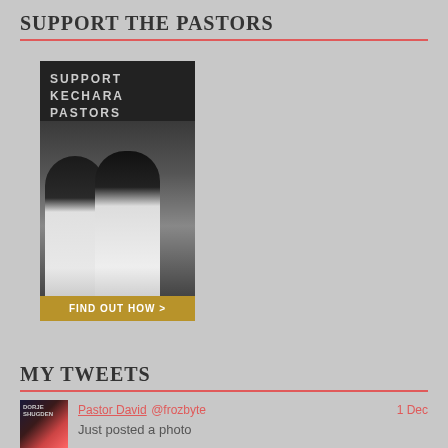SUPPORT THE PASTORS
[Figure (photo): Banner image with text 'SUPPORT KECHARA PASTORS' over a photo of two people in white clothing, with a 'FIND OUT HOW >' button at the bottom on a dark background.]
MY TWEETS
[Figure (photo): Thumbnail image for Dorje Shugden book or post]
Pastor David @frozbyte   1 Dec
Just posted a photo